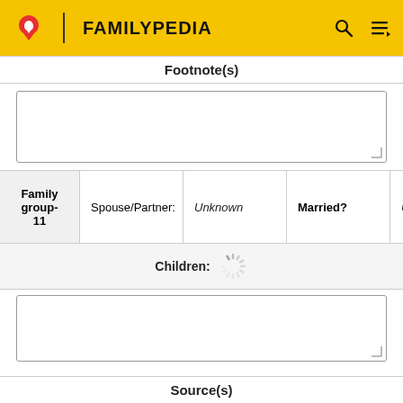FAMILYPEDIA
Footnote(s)
| Family group-11 | Spouse/Partner: | Unknown | Married? | Unk |
| --- | --- | --- | --- | --- |
| Family group-11 | Spouse/Partner: | Unknown | Married? | Unk |
Children:
Source(s)